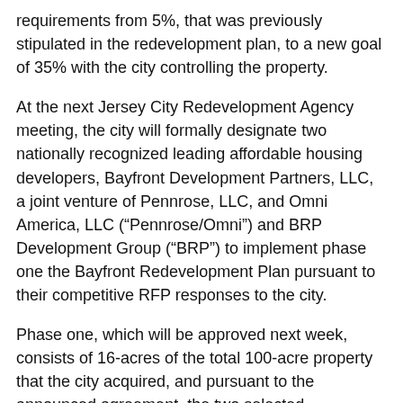requirements from 5%, that was previously stipulated in the redevelopment plan, to a new goal of 35% with the city controlling the property.
At the next Jersey City Redevelopment Agency meeting, the city will formally designate two nationally recognized leading affordable housing developers, Bayfront Development Partners, LLC, a joint venture of Pennrose, LLC, and Omni America, LLC (“Pennrose/Omni”) and BRP Development Group (“BRP”) to implement phase one the Bayfront Redevelopment Plan pursuant to their competitive RFP responses to the city.
Phase one, which will be approved next week, consists of 16-acres of the total 100-acre property that the city acquired, and pursuant to the announced agreement, the two selected developers will pay a total of $26 million to develop this first phase of Bayfront.